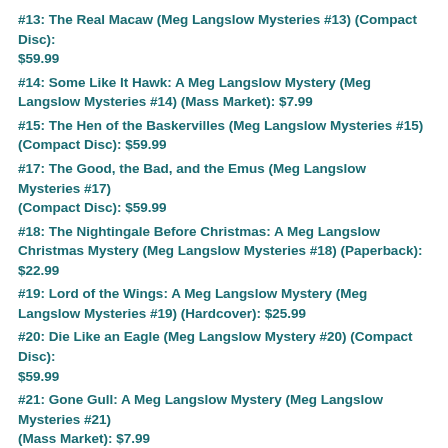#13: The Real Macaw (Meg Langslow Mysteries #13) (Compact Disc): $59.99
#14: Some Like It Hawk: A Meg Langslow Mystery (Meg Langslow Mysteries #14) (Mass Market): $7.99
#15: The Hen of the Baskervilles (Meg Langslow Mysteries #15) (Compact Disc): $59.99
#17: The Good, the Bad, and the Emus (Meg Langslow Mysteries #17) (Compact Disc): $59.99
#18: The Nightingale Before Christmas: A Meg Langslow Christmas Mystery (Meg Langslow Mysteries #18) (Paperback): $22.99
#19: Lord of the Wings: A Meg Langslow Mystery (Meg Langslow Mysteries #19) (Hardcover): $25.99
#20: Die Like an Eagle (Meg Langslow Mystery #20) (Compact Disc): $59.99
#21: Gone Gull: A Meg Langslow Mystery (Meg Langslow Mysteries #21) (Mass Market): $7.99